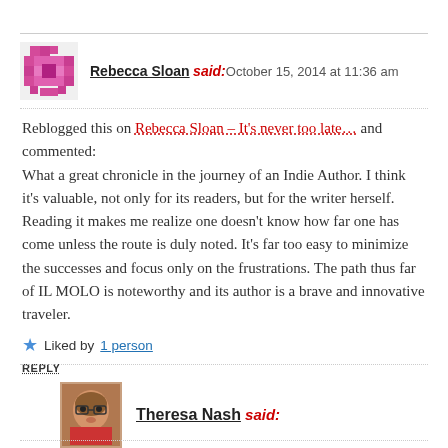Rebecca Sloan said: October 15, 2014 at 11:36 am
Reblogged this on Rebecca Sloan – It's never too late… and commented: What a great chronicle in the journey of an Indie Author. I think it's valuable, not only for its readers, but for the writer herself. Reading it makes me realize one doesn't know how far one has come unless the route is duly noted. It's far too easy to minimize the successes and focus only on the frustrations. The path thus far of IL MOLO is noteworthy and its author is a brave and innovative traveler.
Liked by 1 person
REPLY
Theresa Nash said: October 15, 2014 at 11:43 am